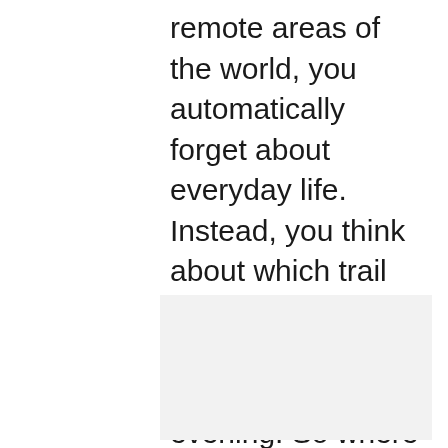remote areas of the world, you automatically forget about everyday life. Instead, you think about which trail you'll take next and where you'll pitch your tent in the evening. So where do you go? Why not choose one of these most legendary hiking routes in the world.
[Figure (other): Light gray rectangular placeholder image area]